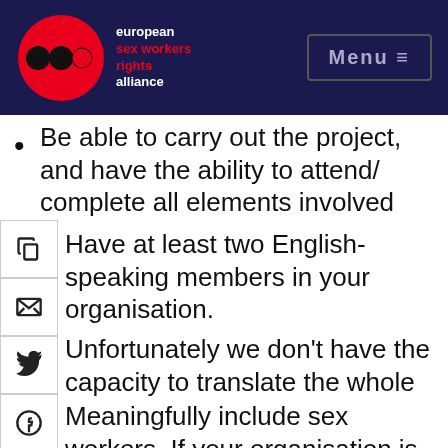[Figure (logo): European Sex Workers Rights Alliance logo: red circle with black dots and red dot, white text on dark navy background with org name in red and white]
Be able to carry out the project, and have the ability to attend/ complete all elements involved
Have at least two English-speaking members in your organisation.
Unfortunately we don't have the capacity to translate the whole research project into other languages, but the final report will be available in Russian, Spanish, French, and English
Meaningfully include sex workers. If your organisation is not led by sex workers, sex